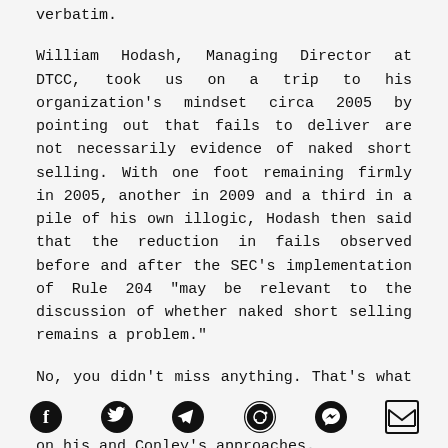verbatim.
William Hodash, Managing Director at DTCC, took us on a trip to his organization's mindset circa 2005 by pointing out that fails to deliver are not necessarily evidence of naked short selling. With one foot remaining firmly in 2005, another in 2009 and a third in a pile of his own illogic, Hodash then said that the reduction in fails observed before and after the SEC's implementation of Rule 204 “may be relevant to the discussion of whether naked short selling remains a problem.”
No, you didn’t miss anything. That’s what he said, with all remaining panelists basically pleading some variation of the on his and Conley’s approaches.
[Figure (infographic): Social sharing icons row: Facebook, Twitter, Telegram, Reddit, Messenger, Email]